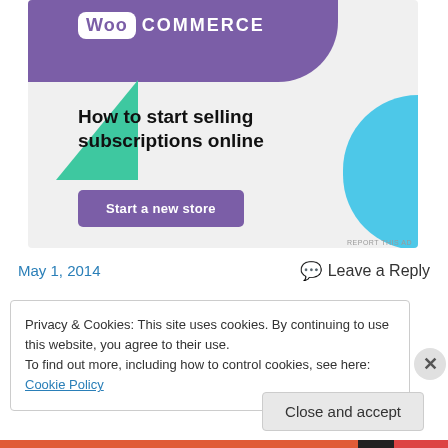[Figure (illustration): WooCommerce advertisement banner with purple header, green triangle, blue curved shape, headline 'How to start selling subscriptions online', and a purple 'Start a new store' button]
REPORT THIS AD
May 1, 2014
💬 Leave a Reply
Privacy & Cookies: This site uses cookies. By continuing to use this website, you agree to their use.
To find out more, including how to control cookies, see here: Cookie Policy
Close and accept